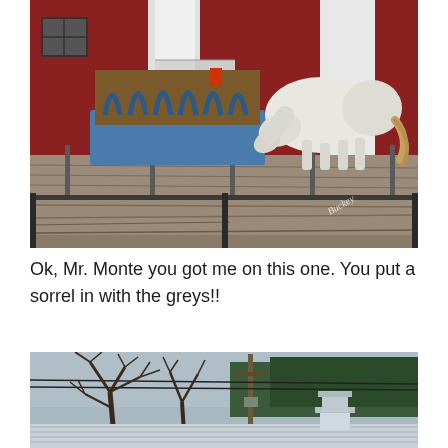[Figure (photo): A white/grey horse eating hay from a blue hay feeder in a muddy paddock, with a red barn in the background and metal panel fencing in the foreground.]
Ok, Mr. Monte you got me on this one.  You put a sorrel in with the greys!!
[Figure (photo): Outdoor scene showing bare tree branches in the foreground against a sky, with green pine trees and a metal roof structure in the background.]